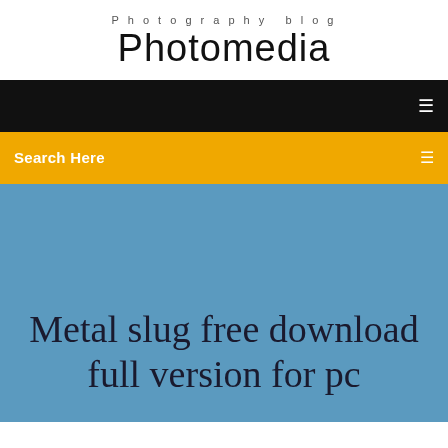Photography blog
Photomedia
Search Here
Metal slug free download full version for pc